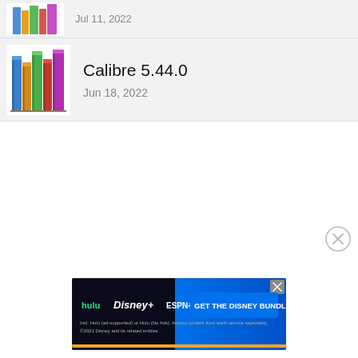[Figure (screenshot): Top list row showing Calibre app icon (colorful books) and date Jul 11, 2022]
Jul 11, 2022
[Figure (illustration): Calibre app icon showing colorful books on a shelf]
Calibre 5.44.0
Jun 18, 2022
[Figure (screenshot): Close/dismiss button (circle with X) in lower right area]
[Figure (screenshot): Hulu Disney+ ESPN+ GET THE DISNEY BUNDLE advertisement banner. Incl. Hulu (ad-supported) or Hulu (No Ads). Access content from each service separately. ©2021 Disney and its related entities]